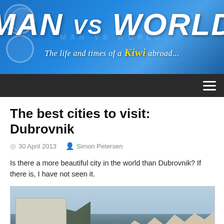MAN vs WORLD — The life and times of a Kiwi abroad
The best cities to visit: Dubrovnik
30 April 2013  Simon Petersen
Is there a more beautiful city in the world than Dubrovnik? If there is, I have not seen it.
[Figure (photo): Aerial or elevated view of Dubrovnik, Croatia, showing a fortress/fort on a cliff with green trees and white/terracotta rooftop buildings spreading across the hillside under a hazy blue sky.]